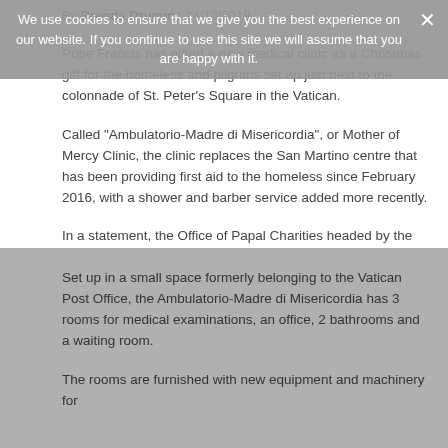By Brenda Drumm | 24/12/2018
Pope Francis has gifted a new medical clinic as a Christmas gift for the homeless and pilgrims set up just next to the colonnade of St. Peter’s Square in the Vatican.
Called “Ambulatorio-Madre di Misericordia”, or Mother of Mercy Clinic, the clinic replaces the San Martino centre that has been providing first aid to the homeless since February 2016, with a shower and barber service added more recently.
In a statement, the Office of Papal Charities headed by the Pope’s Polish Cardinal Konrad Krajewski said that the initiative was planned and executed by the Governorate of Vatican City State in coordination with the Department of Health and Hygiene of the Vatican.
We use cookies to ensure that we give you the best experience on our website. If you continue to use this site we will assume that you are happy with it.
Set up in a small space formerly belonging to the Vatican Post Office, the Ambulatorio-Madre di Misericordia has 3 rooms for medical examinations, an office, 2 bathrooms and a waiting room.
The rooms are furnished with new equipment and machinery for